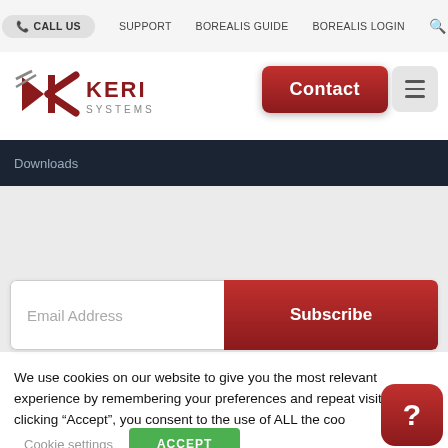CALL US  SUPPORT  BOREALIS GUIDE  BOREALIS LOGIN
[Figure (logo): Keri Systems logo with stylized K and triangle mark in red and gray]
Contact
Downloads
Email Address
Subscribe
We use cookies on our website to give you the most relevant experience by remembering your preferences and repeat visits. By clicking “Accept”, you consent to the use of ALL the cookies.
Cookie settings
ACCEPT